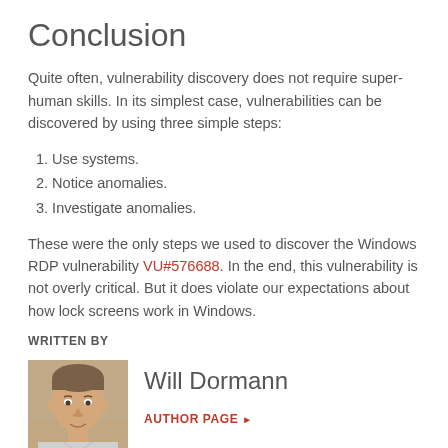Conclusion
Quite often, vulnerability discovery does not require super-human skills. In its simplest case, vulnerabilities can be discovered by using three simple steps:
1. Use systems.
2. Notice anomalies.
3. Investigate anomalies.
These were the only steps we used to discover the Windows RDP vulnerability VU#576688. In the end, this vulnerability is not overly critical. But it does violate our expectations about how lock screens work in Windows.
WRITTEN BY
[Figure (photo): Headshot photo of Will Dormann, a man in his 40s with short hair]
Will Dormann
AUTHOR PAGE ▶